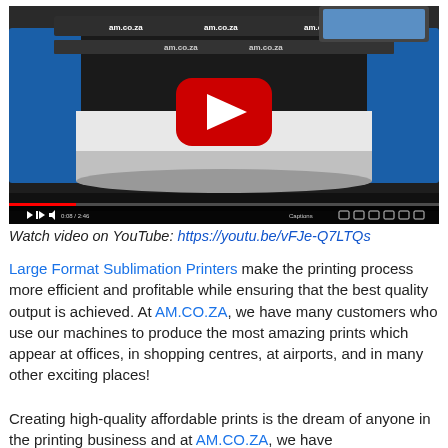[Figure (screenshot): YouTube video thumbnail showing a large format sublimation printer (blue and black industrial machine with white roll of material) with YouTube play button overlay and video control bar. URL shown: https://youtu.be/vFJe-Q7LTQs]
Watch video on YouTube: https://youtu.be/vFJe-Q7LTQs
Large Format Sublimation Printers make the printing process more efficient and profitable while ensuring that the best quality output is achieved. At AM.CO.ZA, we have many customers who use our machines to produce the most amazing prints which appear at offices, in shopping centres, at airports, and in many other exciting places!
Creating high-quality affordable prints is the dream of anyone in the printing business and at AM.CO.ZA, we have